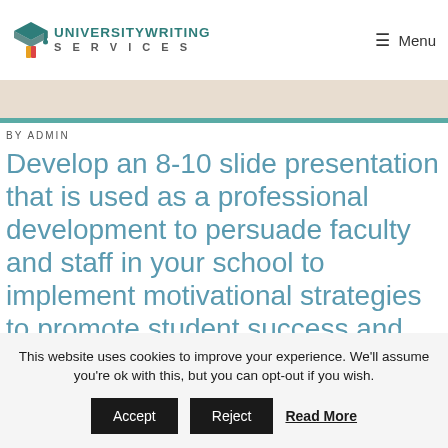UNIVERSITYWRITING SERVICES   Menu
Develop an 8-10 slide presentation that is used as a professional development to persuade faculty and staff in your school to implement motivational strategies to promote student success and ethical
BY ADMIN
This website uses cookies to improve your experience. We'll assume you're ok with this, but you can opt-out if you wish. Accept   Reject   Read More